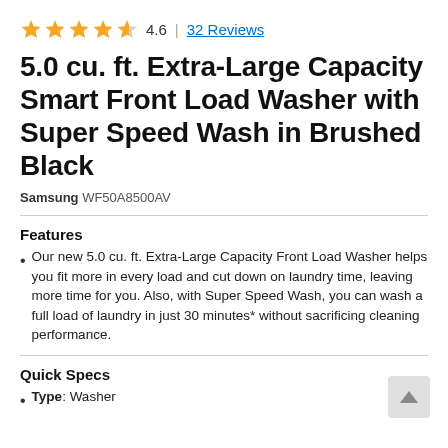4.6 | 32 Reviews
5.0 cu. ft. Extra-Large Capacity Smart Front Load Washer with Super Speed Wash in Brushed Black
Samsung WF50A8500AV
Features
Our new 5.0 cu. ft. Extra-Large Capacity Front Load Washer helps you fit more in every load and cut down on laundry time, leaving more time for you. Also, with Super Speed Wash, you can wash a full load of laundry in just 30 minutes* without sacrificing cleaning performance.
Quick Specs
Type: Washer